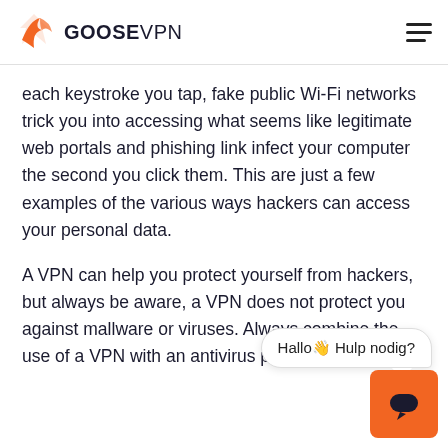GOOSEVPN
each keystroke you tap, fake public Wi-Fi networks trick you into accessing what seems like legitimate web portals and phishing link infect your computer the second you click them. This are just a few examples of the various ways hackers can access your personal data.
A VPN can help you protect yourself from hackers, but always be aware, a VPN does not protect you against mallware or viruses. Always combine the use of a VPN with an antivirus programme.
[Figure (other): Chat widget with bubble saying 'Hallo👋 Hulp nodig?' and orange chat button with speech bubble icon]